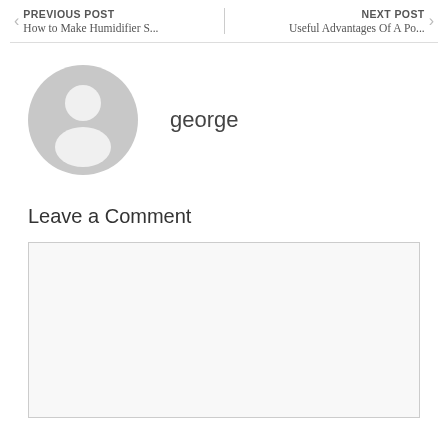PREVIOUS POST How to Make Humidifier S... | NEXT POST Useful Advantages Of A Po...
[Figure (illustration): Generic grey avatar/profile silhouette icon with person shape]
george
Leave a Comment